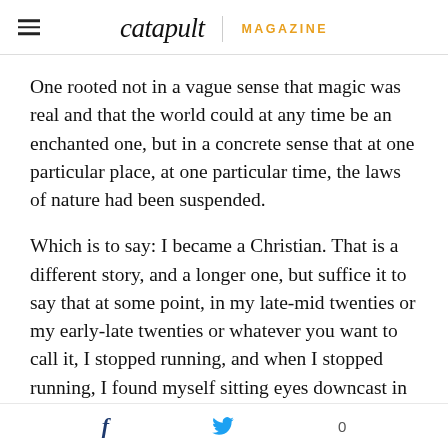catapult | MAGAZINE
One rooted not in a vague sense that magic was real and that the world could at any time be an enchanted one, but in a concrete sense that at one particular place, at one particular time, the laws of nature had been suspended.
Which is to say: I became a Christian. That is a different story, and a longer one, but suffice it to say that at some point, in my late-mid twenties or my early-late twenties or whatever you want to call it, I stopped running, and when I stopped running, I found myself sitting eyes downcast in a midtown church with stained glass windows and Gothic arches
f  🐦  0